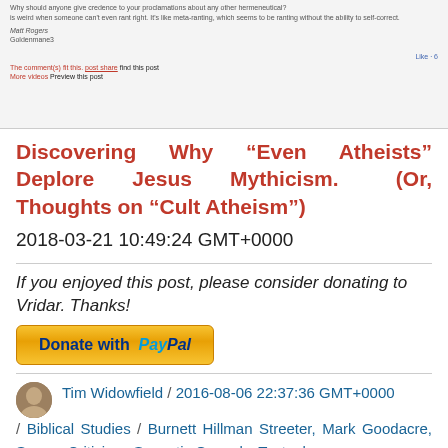[Figure (screenshot): Screenshot of a Facebook or blog comment thread showing text including 'Why should anyone give credence to your proclamations about any other hermeneutical' and 'is weird when someone can't even rant right. It's like meta-ranting, which seems to be ranting without the ability to self-correct.' with user names 'Matt Rogers' and 'Goldenmane3'. A Like button is visible. Below are red links and a 'Preview this post' link.]
Discovering Why “Even Atheists” Deplore Jesus Mythicism. (Or, Thoughts on “Cult Atheism”)
2018-03-21 10:49:24 GMT+0000
If you enjoyed this post, please consider donating to Vridar. Thanks!
[Figure (other): PayPal Donate button - gold/yellow rounded rectangle button with 'Donate with PayPal' text]
Tim Widowfield / 2016-08-06 22:37:36 GMT+0000 / Biblical Studies / Burnett Hillman Streeter, Mark Goodacre, Source Criticism, Synoptic Gospels, Textual